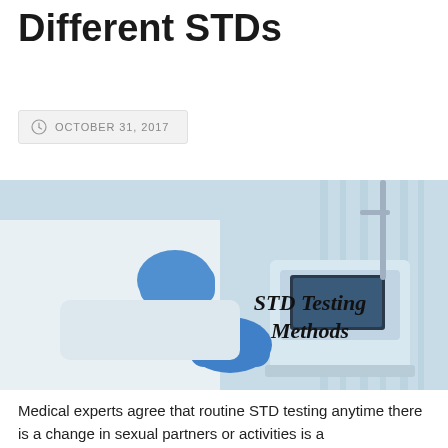Different STDs
OCTOBER 31, 2017
[Figure (photo): Medical professional in white coat and blue gloves operating medical equipment in a clinical setting, with overlaid text 'STD Testing Methods']
Medical experts agree that routine STD testing anytime there is a change in sexual partners or activities is a